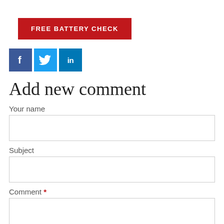[Figure (other): Red button with white uppercase text: FREE BATTERY CHECK]
[Figure (other): Social media icons: Facebook (blue f), Twitter (light blue bird), LinkedIn (blue in)]
Add new comment
Your name
Subject
Comment *